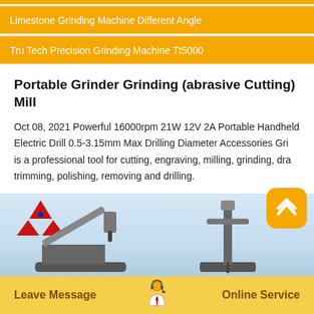Limestone Grinding Machine Different Angle
Tru Tech Precision Grinding Machine Tt5000
Portable Grinder Grinding (abrasive Cutting) Mill
Oct 08, 2021 Powerful 16000rpm 21W 12V 2A Portable Handheld Electric Drill 0.5-3.15mm Max Drilling Diameter Accessories Grin is a professional tool for cutting, engraving, milling, grinding, draw trimming, polishing, removing and drilling.
[Figure (photo): Industrial grinding/drilling machines on a light blue background with a red triangle logo in the upper left]
Leave Message   Online Service